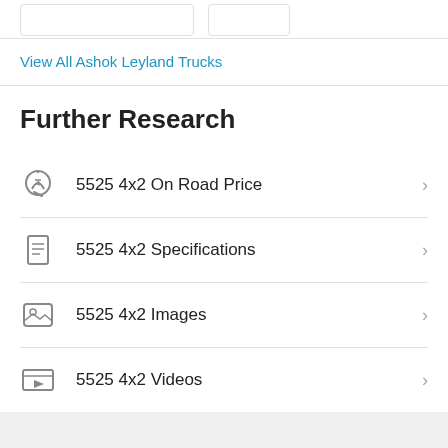View All Ashok Leyland Trucks
Further Research
5525 4x2 On Road Price
5525 4x2 Specifications
5525 4x2 Images
5525 4x2 Videos